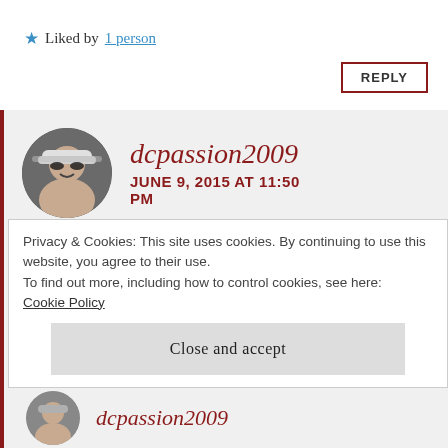★ Liked by 1 person
REPLY
dcpassion2009
JUNE 9, 2015 AT 11:50 PM
[Figure (photo): Circular avatar photo of a person wearing a white bucket hat and sunglasses, smiling]
√√√
Privacy & Cookies: This site uses cookies. By continuing to use this website, you agree to their use.
To find out more, including how to control cookies, see here:
Cookie Policy
Close and accept
[Figure (photo): Partial circular avatar at bottom, person wearing a cap]
dcpassion2009